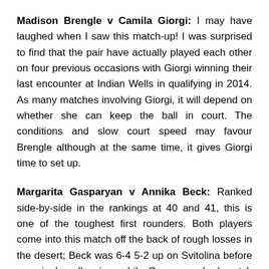Madison Brengle v Camila Giorgi: I may have laughed when I saw this match-up! I was surprised to find that the pair have actually played each other on four previous occasions with Giorgi winning their last encounter at Indian Wells in qualifying in 2014. As many matches involving Giorgi, it will depend on whether she can keep the ball in court. The conditions and slow court speed may favour Brengle although at the same time, it gives Giorgi time to set up.
Margarita Gasparyan v Annika Beck: Ranked side-by-side in the rankings at 40 and 41, this is one of the toughest first rounders. Both players come into this match off the back of rough losses in the desert; Beck was 6-4 5-2 up on Svitolina before seemingly collapsing, while Gasparyan had match points against Vinci and looked